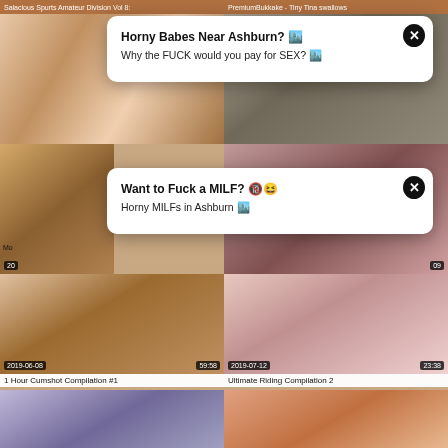Salacious Spurts Amateur Division Vol 8:
PremiumBukkake - Tiny Tina swallows
[Figure (screenshot): Thumbnail of woman with blonde hair]
[Figure (screenshot): Pop-up ad overlay: Horny Babes Near Ashburn? Why the FUCK would you pay for SEX?]
[Figure (screenshot): Thumbnail of woman in lingerie]
[Figure (screenshot): Pop-up ad overlay: Want to Fuck a MILF? Horny MILFs in Ashburn]
1 Hour Cumshot Compilation #1
Ultimate Riding Compilation 2